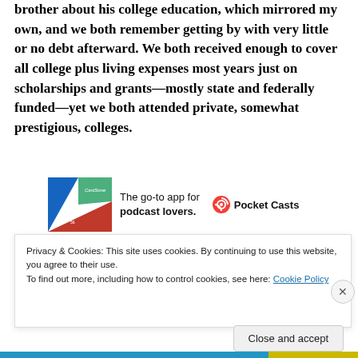brother about his college education, which mirrored my own, and we both remember getting by with very little or no debt afterward. We both received enough to cover all college plus living expenses most years just on scholarships and grants—mostly state and federally funded—yet we both attended private, somewhat prestigious, colleges.
[Figure (infographic): Pocket Casts app advertisement: colorful app icon logo with text 'The go-to app for podcast lovers.' and Pocket Casts logo/brand name.]
I know, millennial generation, but don't blame us
Privacy & Cookies: This site uses cookies. By continuing to use this website, you agree to their use.
To find out more, including how to control cookies, see here: Cookie Policy
Close and accept